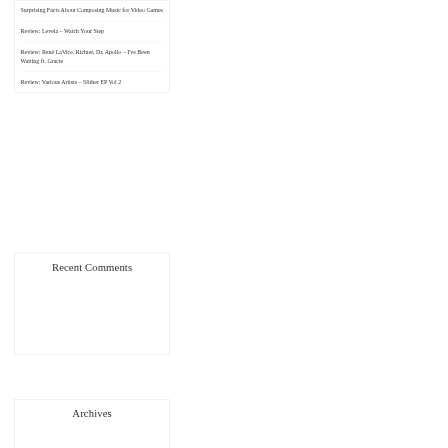Surprising Facts About Composing Music for Video Games
Review: Levela – Watch Your Step
Review: René LaVice, Richter, Dr. Apollo – I've Been Waiting ft. Gracie
Review: Various Artists – Slither EP Vol 2
Recent Comments
Archives